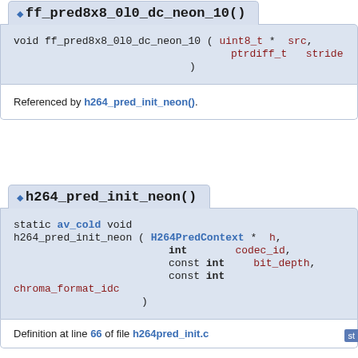ff_pred8x8_0l0_dc_neon_10()
void ff_pred8x8_0l0_dc_neon_10 ( uint8_t * src, ptrdiff_t stride )
Referenced by h264_pred_init_neon().
h264_pred_init_neon()
static av_cold void h264_pred_init_neon ( H264PredContext * h, int codec_id, const int bit_depth, const int chroma_format_idc )
Definition at line 66 of file h264pred_init.c